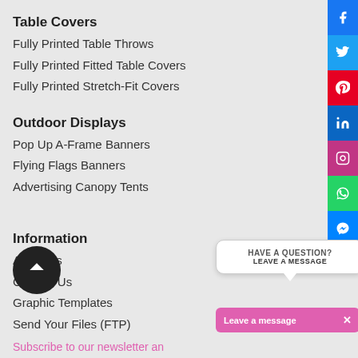Table Covers
Fully Printed Table Throws
Fully Printed Fitted Table Covers
Fully Printed Stretch-Fit Covers
Outdoor Displays
Pop Up A-Frame Banners
Flying Flags Banners
Advertising Canopy Tents
Information
About Us
Contact Us
Graphic Templates
Send Your Files (FTP)
HAVE A QUESTION? LEAVE A MESSAGE
Leave a message
Subscribe to our newsletter an